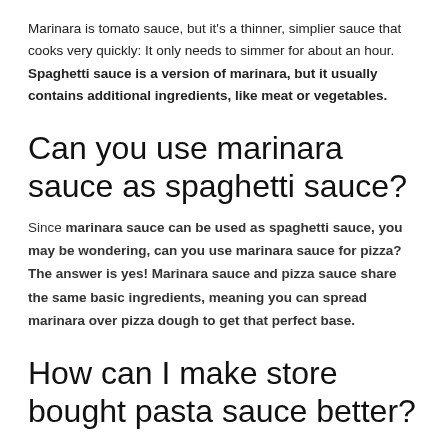Marinara is tomato sauce, but it's a thinner, simplier sauce that cooks very quickly: It only needs to simmer for about an hour. Spaghetti sauce is a version of marinara, but it usually contains additional ingredients, like meat or vegetables.
Can you use marinara sauce as spaghetti sauce?
Since marinara sauce can be used as spaghetti sauce, you may be wondering, can you use marinara sauce for pizza? The answer is yes! Marinara sauce and pizza sauce share the same basic ingredients, meaning you can spread marinara over pizza dough to get that perfect base.
How can I make store bought pasta sauce better?